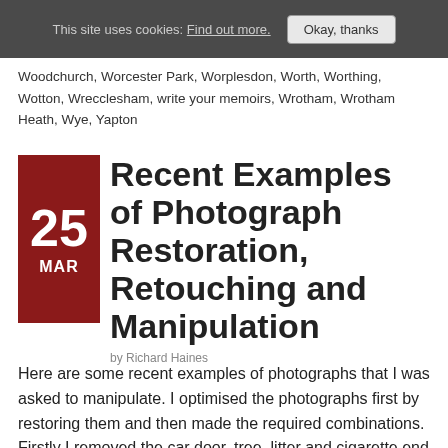This site uses cookies: Find out more. Okay, thanks
Woodchurch, Worcester Park, Worplesdon, Worth, Worthing, Wotton, Wrecclesham, write your memoirs, Wrotham, Wrotham Heath, Wye, Yapton
Recent Examples of Photograph Restoration, Retouching and Manipulation
by Richard Haines
Here are some recent examples of photographs that I was asked to manipulate. I optimised the photographs first by restoring them and then made the required combinations. Firstly I removed the car door, tree, litter and cigarette end to result in a good photograph of the couple. From this image I was asked to